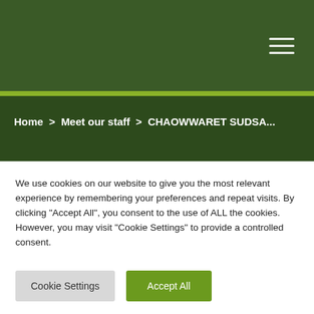≡ (hamburger menu icon)
Home > Meet our staff > CHAOWWARET SUDSA...
We use cookies on our website to give you the most relevant experience by remembering your preferences and repeat visits. By clicking "Accept All", you consent to the use of ALL the cookies. However, you may visit "Cookie Settings" to provide a controlled consent.
Cookie Settings | Accept All